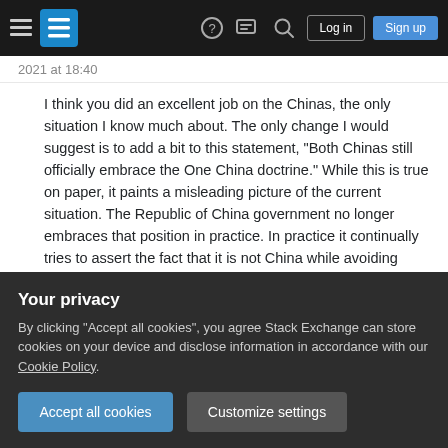Stack Exchange navigation bar with hamburger menu, logo, help, chat, search icons, Log in and Sign up buttons
2021 at 18:40
I think you did an excellent job on the Chinas, the only situation I know much about. The only change I would suggest is to add a bit to this statement, "Both Chinas still officially embrace the One China doctrine." While this is true on paper, it paints a misleading picture of the current situation. The Republic of China government no longer embraces that position in practice. In practice it continually tries to assert the fact that it is not China while avoiding provoking America's displeasure or a Chinese military action. – Readin Aug 7, 2021 at 2:10
Your privacy
By clicking "Accept all cookies", you agree Stack Exchange can store cookies on your device and disclose information in accordance with our Cookie Policy.
Accept all cookies
Customize settings